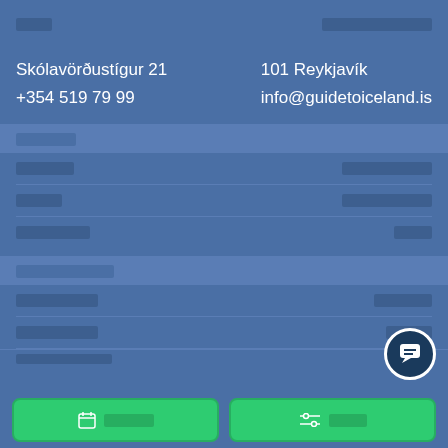[redacted]  [redacted]
Skólavörðustígur 21   101 Reykjavík
+354 519 79 99   info@guidetoiceland.is
[redacted]
[redacted]   [redacted]
[redacted]   [redacted]
[redacted]   [redacted]
[redacted]
[redacted]   [redacted]
[redacted]   [redacted]
[redacted]   [redacted]